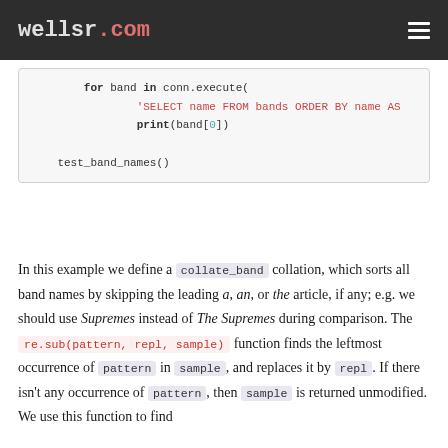wellsr.com
[Figure (screenshot): Code block showing Python code with for loop, SQL string, print statement, and test_band_names() call]
In this example we define a collate_band collation, which sorts all band names by skipping the leading a, an, or the article, if any; e.g. we should use Supremes instead of The Supremes during comparison. The re.sub(pattern, repl, sample) function finds the leftmost occurrence of pattern in sample, and replaces it by repl. If there isn't any occurrence of pattern, then sample is returned unmodified. We use this function to find